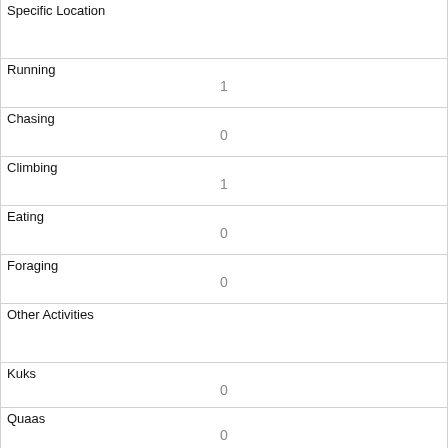| Field | Value |
| --- | --- |
| Specific Location |  |
| Running | 1 |
| Chasing | 0 |
| Climbing | 1 |
| Eating | 0 |
| Foraging | 0 |
| Other Activities |  |
| Kuks | 0 |
| Quaas | 0 |
| Moans | 0 |
| Tail flags |  |